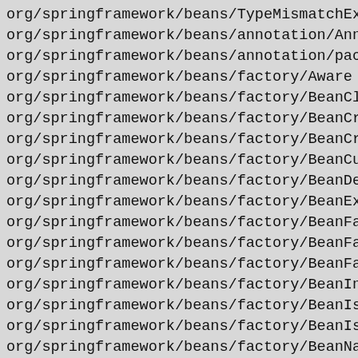org/springframework/beans/TypeMismatchExce
org/springframework/beans/annotation/Annot
org/springframework/beans/annotation/packa
org/springframework/beans/factory/Aware
org/springframework/beans/factory/BeanClas
org/springframework/beans/factory/BeanCrea
org/springframework/beans/factory/BeanCrea
org/springframework/beans/factory/BeanCurr
org/springframework/beans/factory/BeanDefi
org/springframework/beans/factory/BeanExpr
org/springframework/beans/factory/BeanFact
org/springframework/beans/factory/BeanFact
org/springframework/beans/factory/BeanFact
org/springframework/beans/factory/BeanInit
org/springframework/beans/factory/BeanIsAb
org/springframework/beans/factory/BeanIsNo
org/springframework/beans/factory/BeanNam